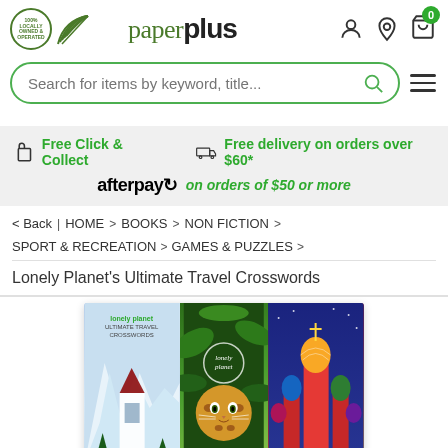[Figure (screenshot): Paper Plus website header with logo, navigation icons (user, location, cart with 0 badge), search bar with 'Search for items by keyword, title...' placeholder, and hamburger menu]
Free Click & Collect     Free delivery on orders over $60*
afterpay on orders of $50 or more
< Back | HOME > BOOKS > NON FICTION > SPORT & RECREATION > GAMES & PUZZLES >
Lonely Planet's Ultimate Travel Crosswords
[Figure (photo): Book cover for Lonely Planet's Ultimate Travel Crosswords showing three panels: snowy alpine church, leopard in jungle with Lonely Planet logo circle, and Russian Saint Basil's Cathedral]